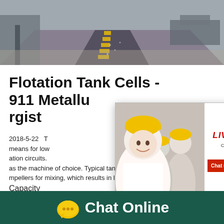[Figure (photo): Aerial or perspective photo of an industrial conveyor belt or road surface with yellow warning stripes, trucks visible in background]
Flotation Tank Cells - 911 Metallurgist
2018-5-22  T means for low ation circuits. as the machine of choice. Typical tank cells u mpellers for mixing, which results in low pow
Capacity
350T/H
[Figure (screenshot): Live chat popup overlay with workers in yellow hard hats, LIVE CHAT heading in red, Click for a Free Consultation subtitle, Chat now and Chat later buttons]
[Figure (infographic): Right sidebar widget on teal background showing emoji faces around a gauge/meter with Chat click button and Enquiry section]
[Figure (screenshot): Bottom dark green bar with yellow chat bubble icon and Chat Online text in white]